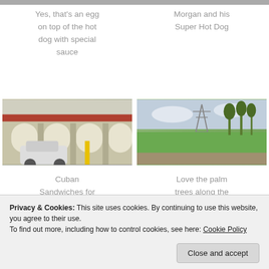Yes, that's an egg on top of the hot dog with special sauce
Morgan and his Super Hot Dog
[Figure (photo): Photo of a building with white arches and a white car parked in front, Cuban sandwich restaurant]
[Figure (photo): Photo of a grassy field with palm trees and a power transmission tower under cloudy sky]
Cuban Sandwiches for
Love the palm trees along the
Privacy & Cookies: This site uses cookies. By continuing to use this website, you agree to their use.
To find out more, including how to control cookies, see here: Cookie Policy